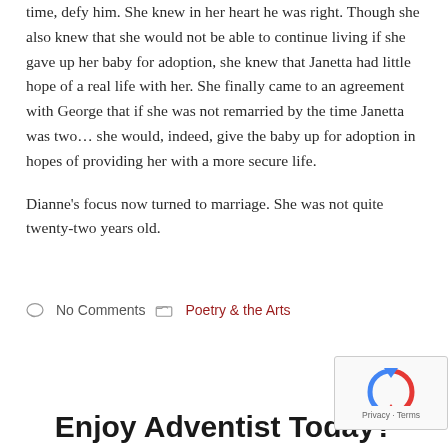time, defy him. She knew in her heart he was right. Though she also knew that she would not be able to continue living if she gave up her baby for adoption, she knew that Janetta had little hope of a real life with her. She finally came to an agreement with George that if she was not remarried by the time Janetta was two... she would, indeed, give the baby up for adoption in hopes of providing her with a more secure life.
Dianne's focus now turned to marriage. She was not quite twenty-two years old.
No Comments   Poetry & the Arts
Enjoy Adventist Today?